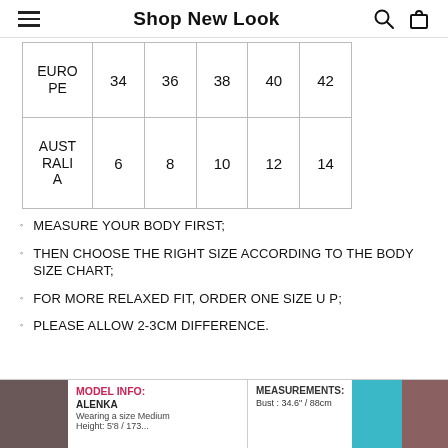Shop New Look
|  | 34 | 36 | 38 | 40 | 42 |
| --- | --- | --- | --- | --- | --- |
| EUROPE | 34 | 36 | 38 | 40 | 42 |
| AUSTRALIA | 6 | 8 | 10 | 12 | 14 |
MEASURE YOUR BODY FIRST;
THEN CHOOSE THE RIGHT SIZE ACCORDING TO THE BODY SIZE CHART;
FOR MORE RELAXED FIT, ORDER ONE SIZE UP;
PLEASE ALLOW 2-3CM DIFFERENCE.
[Figure (photo): Model info strip showing two model photos with text: MODEL INFO: ALENKA, Wearing a size Medium, and MEASUREMENTS: Bust: 34.6" / 88cm]